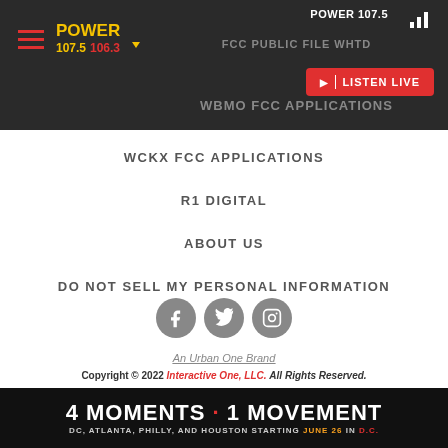POWER 107.5 | FCC PUBLIC FILE WHTD | WBMO FCC APPLICATIONS
WCKX FCC APPLICATIONS
R1 DIGITAL
ABOUT US
DO NOT SELL MY PERSONAL INFORMATION
[Figure (illustration): Social media icons: Facebook, Twitter, Instagram in gray circles]
An Urban One Brand
Copyright © 2022 Interactive One, LLC. All Rights Reserved.
Powered by WordPress VIP
4 MOMENTS · 1 MOVEMENT — DC, ATLANTA, PHILLY, AND HOUSTON STARTING JUNE 26 IN D.C.